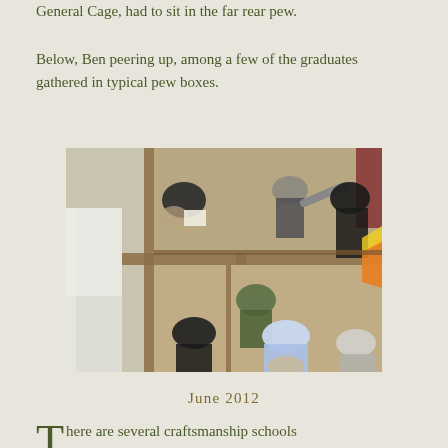General Cage, had to sit in the far rear pew.
Below, Ben peering up, among a few of the graduates gathered in typical pew boxes.
[Figure (photo): Overhead/aerial view looking down into wooden pew boxes in a church, showing several people including graduates seated or standing in the box pews, viewed from above.]
June 2012
There are several craftsmanship schools